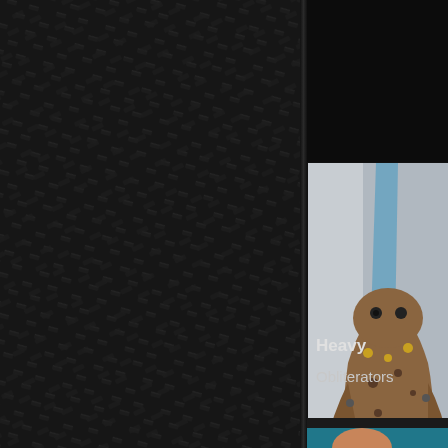[Figure (photo): Dark diamond plate / checker plate textured background filling the left two-thirds of the page, dark grey/black metallic pattern with raised rectangular shapes in a herringbone-like arrangement]
[Figure (photo): Photo of a heavily detailed fantasy or sci-fi figurine/model — appears to be a complex creature or character with organic, mechanical and decorative elements in browns, golds, blues and oranges, mounted on a base]
Heavy
Obliterators
[Figure (photo): Partial view of another figurine at the bottom right, showing skin tones and cyan/turquoise background, cropped]